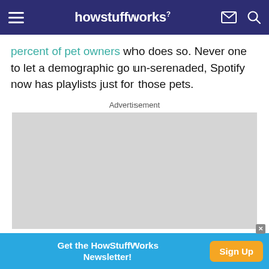howstuffworks
percent of pet owners who does so. Never one to let a demographic go un-serenaded, Spotify now has playlists just for those pets.
Advertisement
[Figure (other): Gray advertisement placeholder rectangle]
Get the HowStuffWorks Newsletter! Sign Up